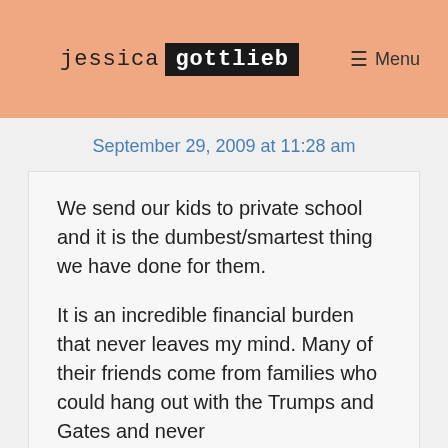jessica gottlieb
September 29, 2009 at 11:28 am
We send our kids to private school and it is the dumbest/smartest thing we have done for them.
It is an incredible financial burden that never leaves my mind. Many of their friends come from families who could hang out with the Trumps and Gates and never